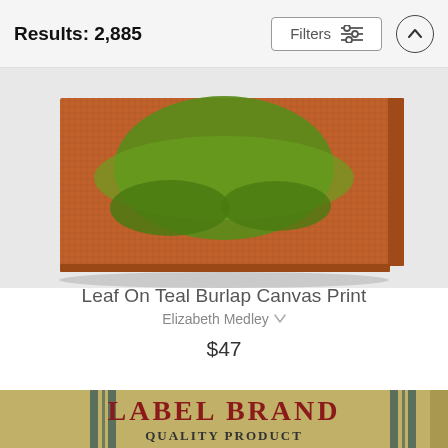Results: 2,885
Filters
[Figure (photo): Canvas print of a green leaf on an orange burlap textured background, shown at an angle as a stretched canvas wall art piece.]
Leaf On Teal Burlap Canvas Print
Elizabeth Medley
$47
[Figure (photo): Vintage-style canvas print showing 'LABEL BRAND Quality Product' text on a burlap/kraft textured background with dark stripe accents, partially cropped at bottom of page.]